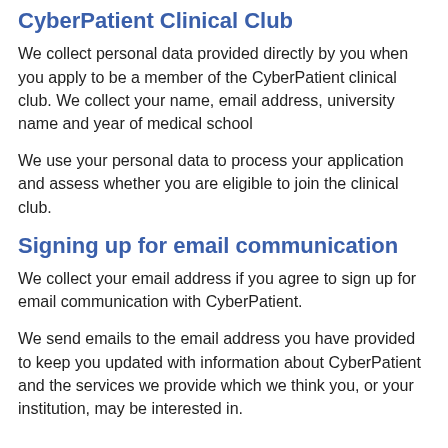CyberPatient Clinical Club
We collect personal data provided directly by you when you apply to be a member of the CyberPatient clinical club. We collect your name, email address, university name and year of medical school
We use your personal data to process your application and assess whether you are eligible to join the clinical club.
Signing up for email communication
We collect your email address if you agree to sign up for email communication with CyberPatient.
We send emails to the email address you have provided to keep you updated with information about CyberPatient and the services we provide which we think you, or your institution, may be interested in.